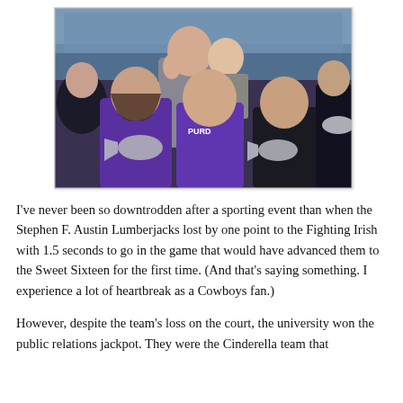[Figure (photo): Group of college students at a basketball game in an arena. Several people wearing purple shirts (one reads 'PURDUE'), holding inflatable megaphones, smiling at the camera. Crowded arena seating visible in the background.]
I've never been so downtrodden after a sporting event than when the Stephen F. Austin Lumberjacks lost by one point to the Fighting Irish with 1.5 seconds to go in the game that would have advanced them to the Sweet Sixteen for the first time. (And that's saying something. I experience a lot of heartbreak as a Cowboys fan.)
However, despite the team's loss on the court, the university won the public relations jackpot. They were the Cinderella team that